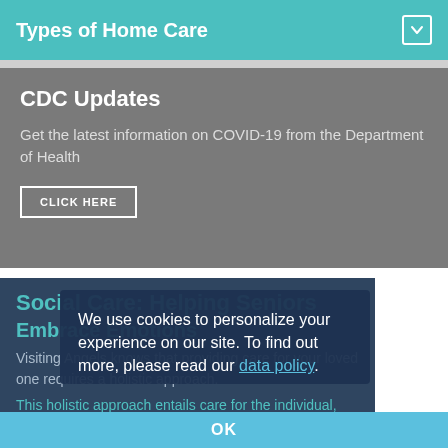Types of Home Care
CDC Updates
Get the latest information on COVID-19 from the Department of Health
CLICK HERE
Social Care: Helping Seniors Embrace Emotions
Visiting Angels knows that providing care for your loved one requires a holistic approach.
We use cookies to personalize your experience on our site. To find out more, please read our data policy.
OK
This holistic approach entails care for the individual, both inside and outside of the home.